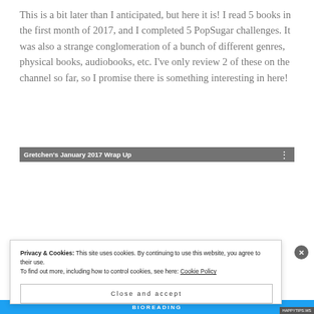This is a bit later than I anticipated, but here it is! I read 5 books in the first month of 2017, and I completed 5 PopSugar challenges. It was also a strange conglomeration of a bunch of different genres, physical books, audiobooks, etc. I've only review 2 of these on the channel so far, so I promise there is something interesting in here!
[Figure (screenshot): YouTube video thumbnail for 'Gretchen's January 2017 Wrap Up' showing three book covers: 'Would Be King', a girl with yellow flowers, and 'The Magician's Land' by Lev Grossman. A cookie consent banner overlays the lower portion.]
Privacy & Cookies: This site uses cookies. By continuing to use this website, you agree to their use.
To find out more, including how to control cookies, see here: Cookie Policy
Close and accept